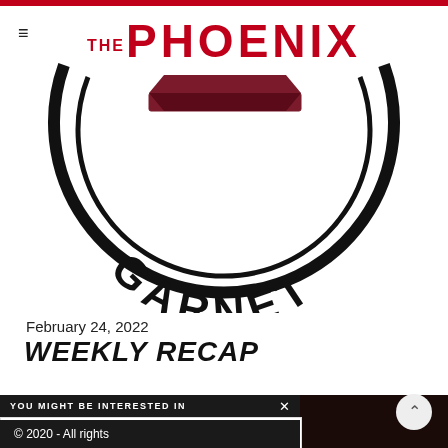THE PHOENIX
[Figure (logo): Swarthmore College Garnet circular logo with stylized 'S' and text 'GARNET' at bottom, large circular badge design]
February 24, 2022
WEEKLY RECAP
YOU MIGHT BE INTERESTED IN
[Figure (logo): Swarthmore College circular seal logo with red S letter]
WEEKEND ROUNDUP & THE WEEK AHEAD
...
© 2020 - All rights